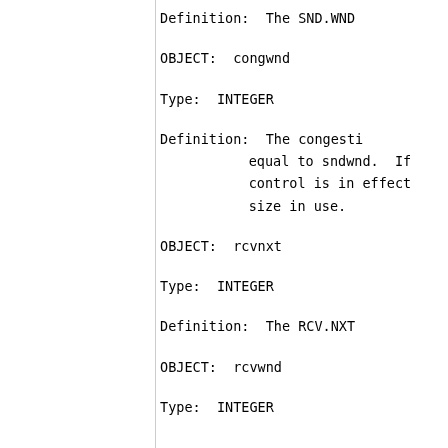Definition:  The SND.WND
OBJECT:  congwnd
Type:  INTEGER
Definition:  The congesti
         equal to sndwnd.  If
         control is in effect
         size in use.
OBJECT:  rcvnxt
Type:  INTEGER
Definition:  The RCV.NXT
OBJECT:  rcvwnd
Type:  INTEGER